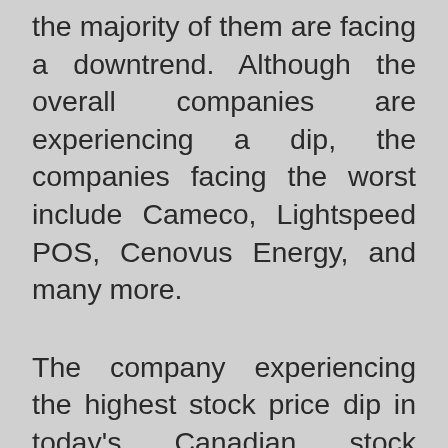the majority of them are facing a downtrend. Although the overall companies are experiencing a dip, the companies facing the worst include Cameco, Lightspeed POS, Cenovus Energy, and many more.
The company experiencing the highest stock price dip in today's Canadian stock market is Cameco. The company's stock has reportedly dived at a rate of 7.21%, bringing its unit price down to $23.18 per share. In the past 12-months, the mining company has observed 131.34% growth in its value. The company's valuation is currently sitting at $9.23 billion making it the 1664th largest company...